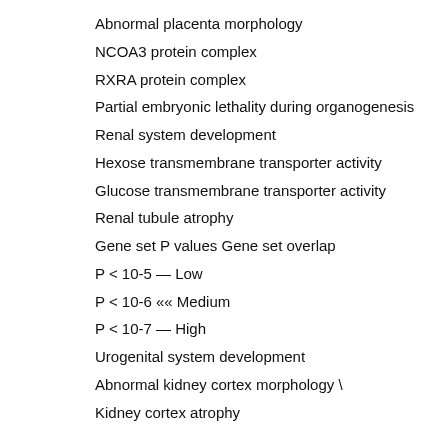Abnormal placenta morphology
NCOA3 protein complex
RXRA protein complex
Partial embryonic lethality during organogenesis
Renal system development
Hexose transmembrane transporter activity
Glucose transmembrane transporter activity
Renal tubule atrophy
Gene set P values Gene set overlap
P < 10-5 — Low
P < 10-6 «« Medium
P < 10-7 — High
Urogenital system development
Abnormal kidney cortex morphology \
Kidney cortex atrophy